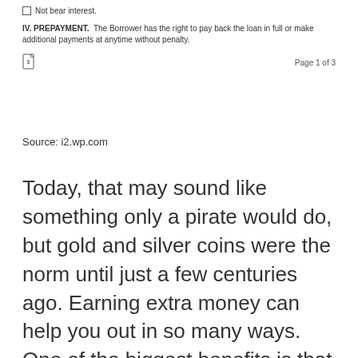Not bear interest.
IV. PREPAYMENT.  The Borrower has the right to pay back the loan in full or make additional payments at anytime without penalty.
Page 1 of 3
Source: i2.wp.com
Today, that may sound like something only a pirate would do, but gold and silver coins were the norm until just a few centuries ago. Earning extra money can help you out in so many ways. One of the biggest benefits is that it can create some extra wiggle room in your budget and also make saving up easier.